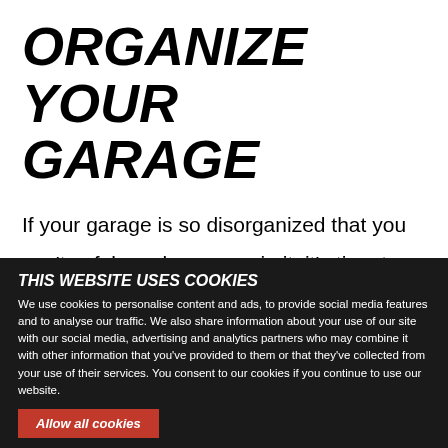ORGANIZE YOUR GARAGE
If your garage is so disorganized that you can't safely park your car in it, it's time to make some changes. You deserve more functional space at your house, and organizing your garage is a start. So if you're wondering how to organize a garage on
THIS WEBSITE USES COOKIES
We use cookies to personalise content and ads, to provide social media features and to analyse our traffic. We also share information about your use of our site with our social media, advertising and analytics partners who may combine it with other information that you've provided to them or that they've collected from your use of their services. You consent to our cookies if you continue to use our website.